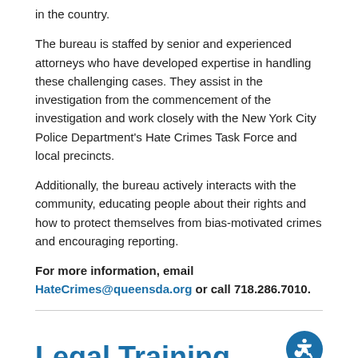in the country.
The bureau is staffed by senior and experienced attorneys who have developed expertise in handling these challenging cases. They assist in the investigation from the commencement of the investigation and work closely with the New York City Police Department's Hate Crimes Task Force and local precincts.
Additionally, the bureau actively interacts with the community, educating people about their rights and how to protect themselves from bias-motivated crimes and encouraging reporting.
For more information, email HateCrimes@queensda.org or call 718.286.7010.
Legal Training
The Legal Training Department is responsible for all tiered training of assistant district attorneys as well as the continuing